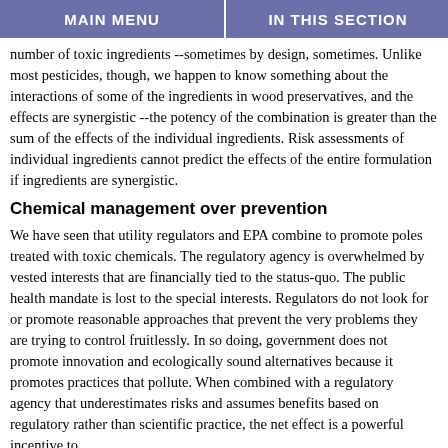MAIN MENU | IN THIS SECTION
number of toxic ingredients --sometimes by design, sometimes. Unlike most pesticides, though, we happen to know something about the interactions of some of the ingredients in wood preservatives, and the effects are synergistic --the potency of the combination is greater than the sum of the effects of the individual ingredients. Risk assessments of individual ingredients cannot predict the effects of the entire formulation if ingredients are synergistic.
Chemical management over prevention
We have seen that utility regulators and EPA combine to promote poles treated with toxic chemicals. The regulatory agency is overwhelmed by vested interests that are financially tied to the status-quo. The public health mandate is lost to the special interests. Regulators do not look for or promote reasonable approaches that prevent the very problems they are trying to control fruitlessly. In so doing, government does not promote innovation and ecologically sound alternatives because it promotes practices that pollute. When combined with a regulatory agency that underestimates risks and assumes benefits based on regulatory rather than scientific practice, the net effect is a powerful incentive to